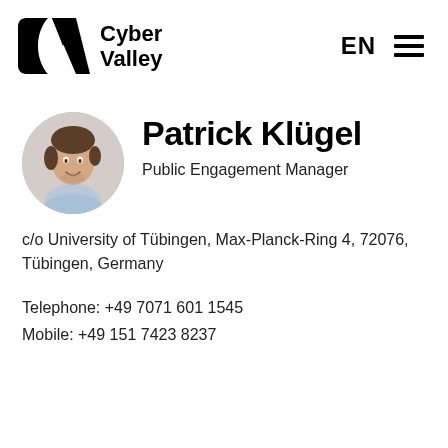[Figure (logo): Cyber Valley logo with stylized C and V shapes in black, followed by text 'Cyber Valley' in bold]
EN ≡
[Figure (photo): Circular headshot photo of a young man with brown hair, smiling, wearing a light blue shirt]
Patrick Klügel
Public Engagement Manager
c/o University of Tübingen, Max-Planck-Ring 4, 72076, Tübingen, Germany
Telephone: +49 7071 601 1545
Mobile: +49 151 7423 8237